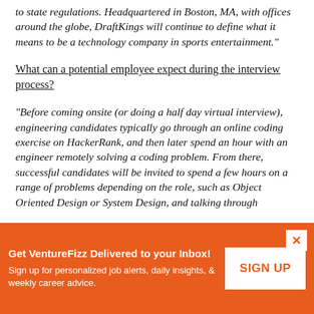to state regulations. Headquartered in Boston, MA, with offices around the globe, DraftKings will continue to define what it means to be a technology company in sports entertainment."
What can a potential employee expect during the interview process?
"Before coming onsite (or doing a half day virtual interview), engineering candidates typically go through an online coding exercise on HackerRank, and then later spend an hour with an engineer remotely solving a coding problem. From there, successful candidates will be invited to spend a few hours on a range of problems depending on the role, such as Object Oriented Design or System Design, and talking through
Get VentureFizz Delivered to your Inbox! Sign up for personalized job alerts, daily insights, & weekly career advice.